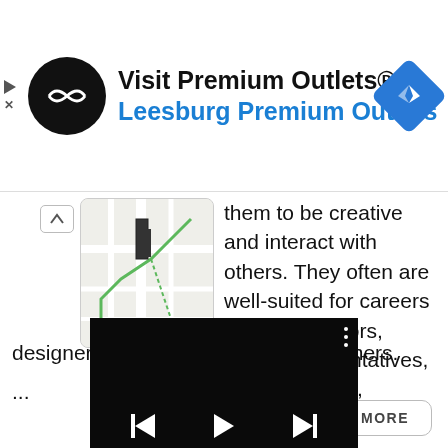[Figure (screenshot): Advertisement banner for Visit Premium Outlets® - Leesburg Premium Outlets with logo and navigation icon]
[Figure (screenshot): Map thumbnail showing street map view with green lines]
them to be creative and interact with others. They often are well-suited for careers as artists, actors, sales representatives, social workers, designers, consultants, or photographers.
...
[Figure (screenshot): Video player thumbnail showing dark video content with playback controls and vertical dots menu]